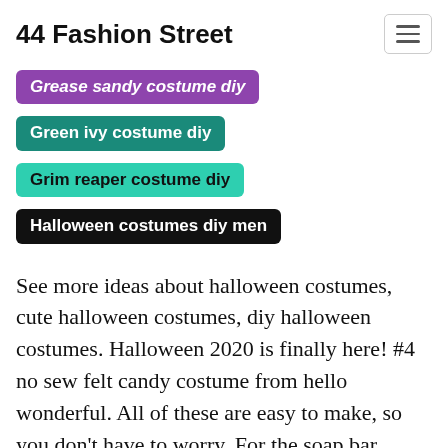44 Fashion Street
Grease sandy costume diy
Green ivy costume diy
Grim reaper costume diy
Halloween costumes diy men
See more ideas about halloween costumes, cute halloween costumes, diy halloween costumes. Halloween 2020 is finally here! #4 no sew felt candy costume from hello wonderful. All of these are easy to make, so you don't have to worry. For the soap bar,